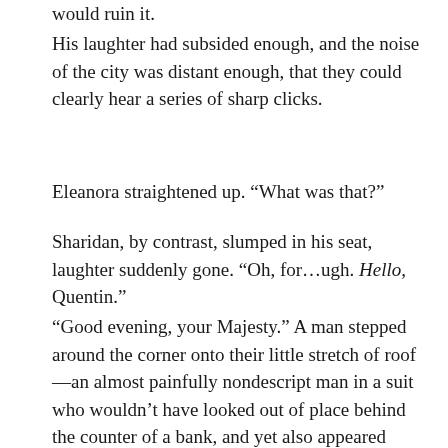would ruin it.
His laughter had subsided enough, and the noise of the city was distant enough, that they could clearly hear a series of sharp clicks.
Eleanora straightened up. “What was that?”
Sharidan, by contrast, slumped in his seat, laughter suddenly gone. “Oh, for…ugh. Hello, Quentin.”
“Good evening, your Majesty.” A man stepped around the corner onto their little stretch of roof—an almost painfully nondescript man in a suit who wouldn’t have looked out of place behind the counter of a bank, and yet also appeared quite comfortable on a damp rooftop in the middle of the night. As he came into view, he turned the knob of his silver pocketwatch a few more times, making it click again, and tucked it into his pocket. “Ready to go home?”